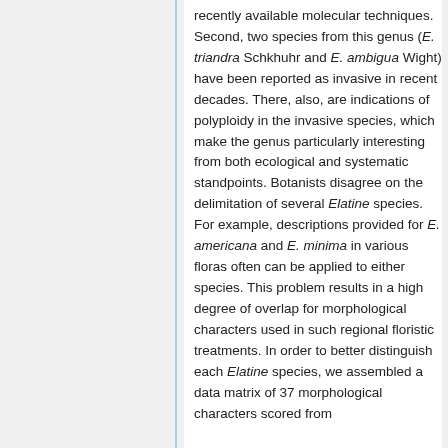recently available molecular techniques. Second, two species from this genus (E. triandra Schkhuhr and E. ambigua Wight) have been reported as invasive in recent decades. There, also, are indications of polyploidy in the invasive species, which make the genus particularly interesting from both ecological and systematic standpoints. Botanists disagree on the delimitation of several Elatine species. For example, descriptions provided for E. americana and E. minima in various floras often can be applied to either species. This problem results in a high degree of overlap for morphological characters used in such regional floristic treatments. In order to better distinguish each Elatine species, we assembled a data matrix of 37 morphological characters scored from